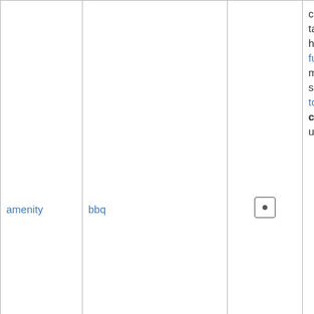| Key | Value | Icon | Description |
| --- | --- | --- | --- |
| amenity | bbq | [icon] | city parks or at ... tag fuel=* to spe... heating, such as... fuel=wood;elect... mapping nearby... see also the tag... tourism=picnic_... campfires and ... use the tag leis... |
| amenity | bench | [icon] | A bench to sit d... bit |
| amenity | dog_toilet | [icons] | Area designated... urinate and exc... |
| amenity | drinking_water | [icon] | Drinking water ... humans can ob... for consumption... water is used fo... |